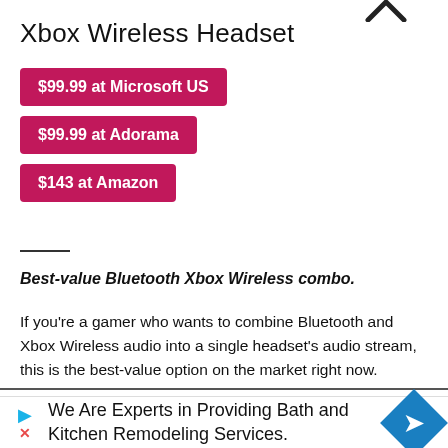[Figure (logo): Partial checkmark logo at top right]
Xbox Wireless Headset
$99.99 at Microsoft US
$99.99 at Adorama
$143 at Amazon
Best-value Bluetooth Xbox Wireless combo.
If you're a gamer who wants to combine Bluetooth and Xbox Wireless audio into a single headset's audio stream, this is the best-value option on the market right now.
We Are Experts in Providing Bath and Kitchen Remodeling Services.